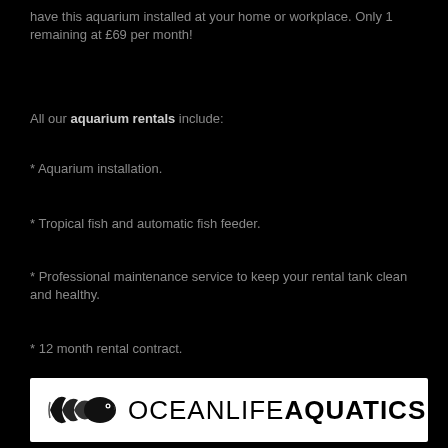have this aquarium installed at your home or workplace. Only 1 remaining at £69 per month!
All our aquarium rentals include:
* Aquarium installation.
* Tropical fish and automatic fish feeder.
* Professional maintenance service to keep your rental tank clean and healthy.
* 12 month rental contract.
[Figure (logo): Ocean Life Aquatics logo — fish icon on the left with text OCEANLIFE AQUATICS on white background]